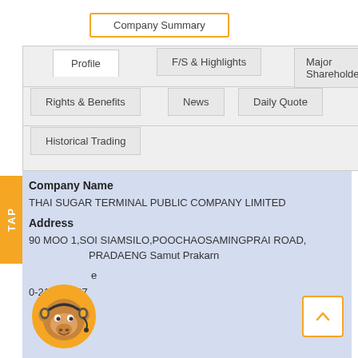Company Summary
Profile
F/S & Highlights
Major Shareholder
Rights & Benefits
News
Daily Quote
Historical Trading
Company Name
THAI SUGAR TERMINAL PUBLIC COMPANY LIMITED
Address
90 MOO 1,SOI SIAMSILO,POOCHAOSAMINGPRAI ROAD, PRADAENG Samut Prakarn
e
0-2183-4567